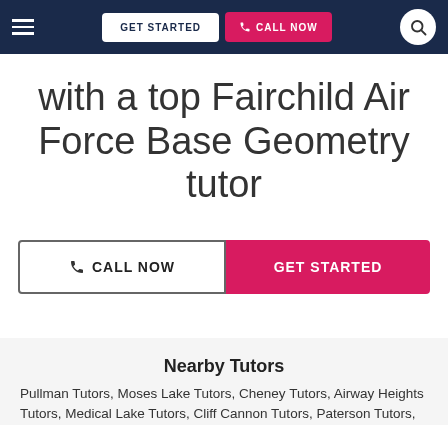GET STARTED | CALL NOW
with a top Fairchild Air Force Base Geometry tutor
CALL NOW | GET STARTED
Nearby Tutors
Pullman Tutors, Moses Lake Tutors, Cheney Tutors, Airway Heights Tutors, Medical Lake Tutors, Cliff Cannon Tutors, Paterson Tutors,